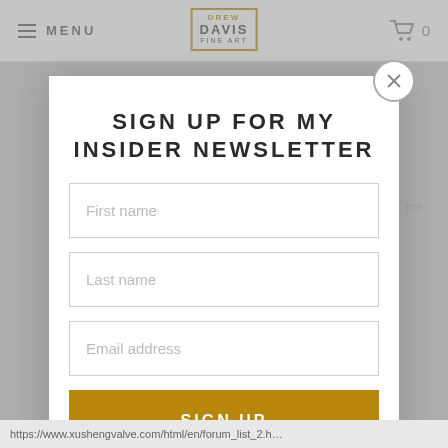MENU | DREW DAVIS FINE ART | 0
SIGN UP FOR MY INSIDER NEWSLETTER
First name
Last name
Email address
SIGN UP
https://www.xushengvalve.com/html/en/forum_list_2.h…